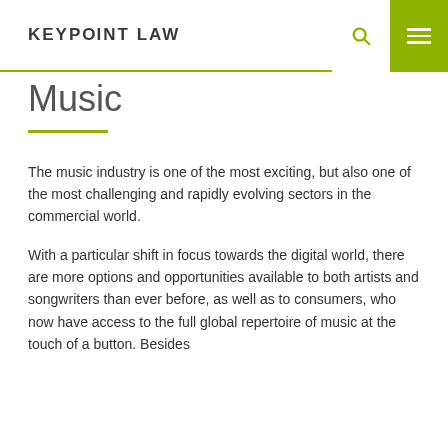KEYPOINT LAW
Music
The music industry is one of the most exciting, but also one of the most challenging and rapidly evolving sectors in the commercial world.
With a particular shift in focus towards the digital world, there are more options and opportunities available to both artists and songwriters than ever before, as well as to consumers, who now have access to the full global repertoire of music at the touch of a button. Besides